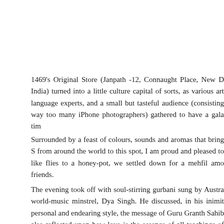1469's Original Store (Janpath -12, Connaught Place, New D India) turned into a little culture capital of sorts, as various art language experts, and a small but tasteful audience (consisting way too many iPhone photographers) gathered to have a gala tim
Surrounded by a feast of colours, sounds and aromas that bring S from around the world to this spot, I am proud and pleased to like flies to a honey-pot, we settled down for a mehfil amo friends.
The evening took off with soul-stirring gurbani sung by Austra world-music minstrel, Dya Singh. He discussed, in his inimit personal and endearing style, the message of Guru Granth Sahib also reflected upon how love is the essence of all teachings of Sik
Then, on popular demand from kids and adults alike, he sang melodious oorrha-airrha-eerrhi-sassa-hahaa ... The Gurm Alphabet Song .. and everyone joined in.